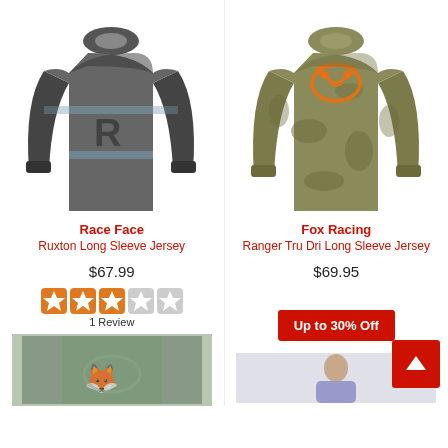[Figure (photo): Race Face Ruxton Long Sleeve Jersey in dark grey/black colorway]
Race Face
Ruxton Long Sleeve Jersey
$67.99
[Figure (other): Star rating: 2 out of 5 stars (filled orange, rest grey)]
1 Review
[Figure (photo): Partially visible jersey in sage green with Fox logo at bottom]
[Figure (photo): Fox Racing Ranger Tru Dri Long Sleeve Jersey in olive camo colorway]
Fox Racing
Ranger Tru Dri Long Sleeve Jersey
$69.95
Up to 30% Off
[Figure (other): Scroll to top button (red with up arrow)]
[Figure (photo): Partially visible product image at bottom right]